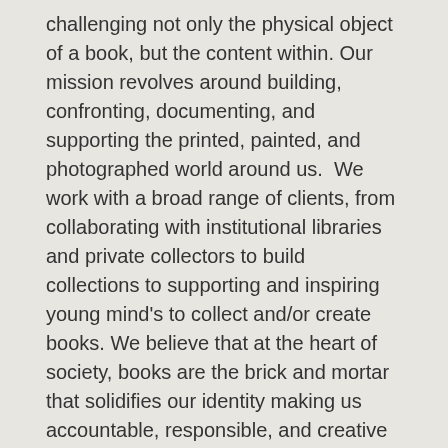challenging not only the physical object of a book, but the content within. Our mission revolves around building, confronting, documenting, and supporting the printed, painted, and photographed world around us.  We work with a broad range of clients, from collaborating with institutional libraries and private collectors to build collections to supporting and inspiring young mind's to collect and/or create books. We believe that at the heart of society, books are the brick and mortar that solidifies our identity making us accountable, responsible, and creative humans. It is our job as booksellers to help support that relationship.
#NYCBOOKFAIR2017 #NYABAA17
With that in mind, we like to represent many critical issues in our book selections, embodied by the work